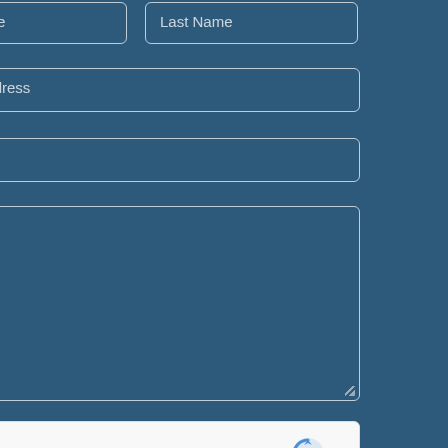[Figure (screenshot): Contact form on a dark blue background (#2d5a7b) showing partially visible fields: First Name, Last Name, Email Address, Subject, Message textarea, reCAPTCHA widget with 'I'm not a robot' text and reCAPTCHA logo, and a SUBMIT button.]